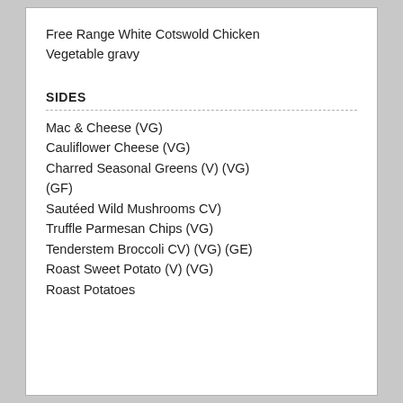Free Range White Cotswold Chicken
Vegetable gravy
SIDES
Mac & Cheese (VG)
Cauliflower Cheese (VG)
Charred Seasonal Greens (V) (VG) (GF)
Sautéed Wild Mushrooms CV)
Truffle Parmesan Chips (VG)
Tenderstem Broccoli CV) (VG) (GE)
Roast Sweet Potato (V) (VG)
Roast Potatoes